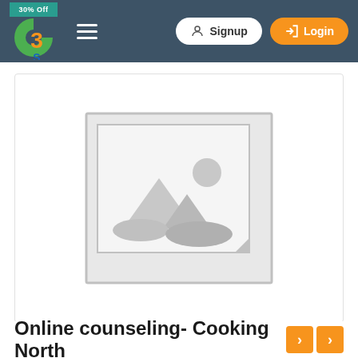Navigation bar with logo, hamburger menu, Signup and Login buttons
[Figure (illustration): Placeholder image (grey landscape/mountain image placeholder icon inside a white card with border)]
Online counseling- Cooking North